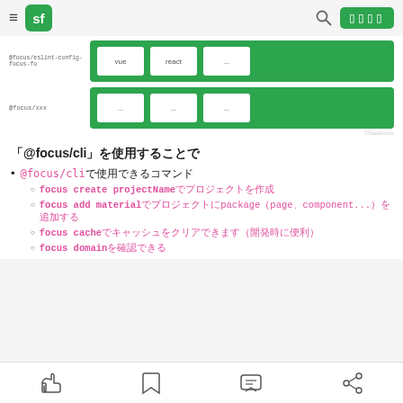sf  [search] [menu button]
[Figure (screenshot): Two green boxes showing package rows. First row labeled '@focus/eslint-config-focus-fo' with cards: 'vue', 'react', '...'. Second row labeled '@focus/xxx' with three cards each showing '...'.]
「@focus/cli」を使用することで
@focus/cliで使用できるコマンド
focus create projectNameでプロジェクトを作成
focus add materialでプロジェクトにpackage（page、component...）を追加する
focus cacheでキャッシュをクリアできます（開発時に便利）
focus domainを確認できる
[like] [bookmark] [comment] [share]